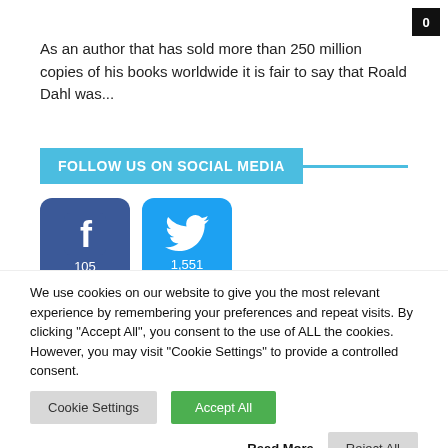As an author that has sold more than 250 million copies of his books worldwide it is fair to say that Roald Dahl was...
FOLLOW US ON SOCIAL MEDIA
[Figure (logo): Facebook icon with follower count 105]
[Figure (logo): Twitter icon with follower count 1,551]
We use cookies on our website to give you the most relevant experience by remembering your preferences and repeat visits. By clicking "Accept All", you consent to the use of ALL the cookies. However, you may visit "Cookie Settings" to provide a controlled consent.
Cookie Settings | Accept All | Read More | Reject All